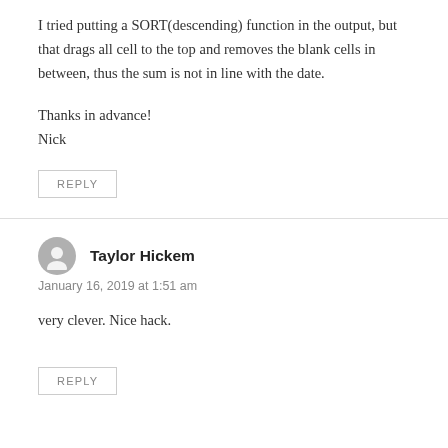I tried putting a SORT(descending) function in the output, but that drags all cell to the top and removes the blank cells in between, thus the sum is not in line with the date.
Thanks in advance!
Nick
REPLY
Taylor Hickem
January 16, 2019 at 1:51 am
very clever. Nice hack.
REPLY